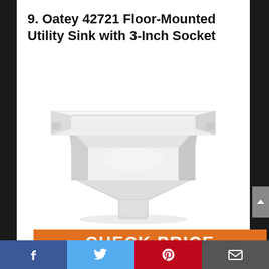9. Oatey 42721 Floor-Mounted Utility Sink with 3-Inch Socket
[Figure (photo): White floor-mounted utility sink with wide flat rim and tapered body with 3-inch bottom socket outlet, shown on white background.]
CHECK PRICE